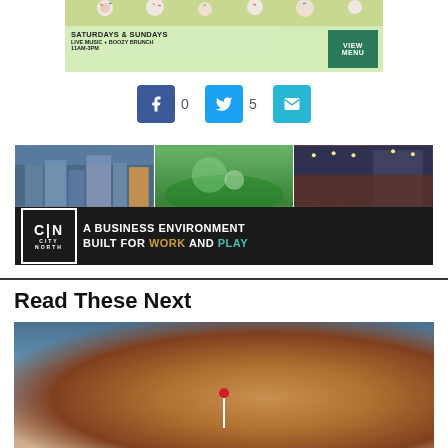[Figure (photo): Advertisement banner for Saturday & Sunday Live Music + Boozy Brunch 11AM-3PM with cupcakes image and VIEW MENU button]
[Figure (infographic): Social share buttons: Facebook (0 shares), Twitter (5 shares), Email button]
[Figure (photo): City North advertisement: A Business Environment Built For WORK AND PLAY, with photos of cityscape, indoor golf, and outdoor dining]
Read These Next
[Figure (photo): Food/drink photo showing a topped cocktail or dessert with a cherry garnish on a stick, blurred background]